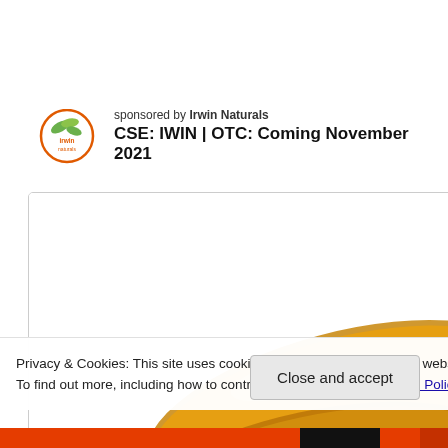[Figure (logo): Irwin Naturals logo — green leaf design with brand name]
sponsored by Irwin Naturals
CSE: IWIN | OTC: Coming November 2021
[Figure (photo): Close-up of golden/amber gel capsules (softgels) on white background]
[Figure (photo): Person near natural ingredients including aloe and a small bowl of capsules]
Privacy & Cookies: This site uses cookies. By continuing to use this website, you agree to their use.
To find out more, including how to control cookies, see here: Cookie Policy
Close and accept